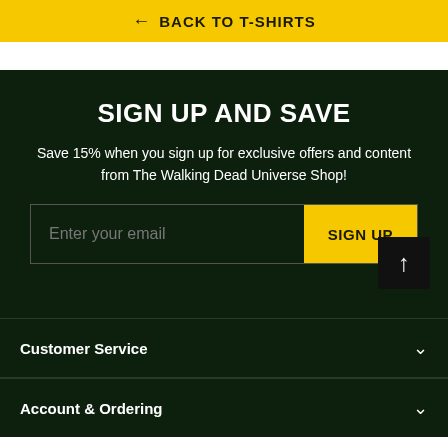← BACK TO T-SHIRTS
SIGN UP AND SAVE
Save 15% when you sign up for exclusive offers and content from The Walking Dead Universe Shop!
Enter your email | SIGN UP
Customer Service
Account & Ordering